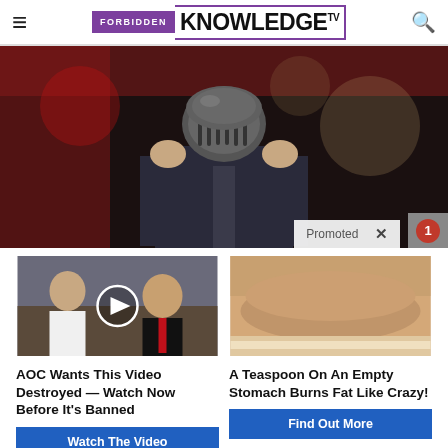FORBIDDEN KNOWLEDGE TV
[Figure (photo): Person putting on a Bane-style mask, wearing a dark suit, with red and blurred bokeh background. Promoted content label in bottom right.]
[Figure (photo): Left ad: photo of Melania and Donald Trump with play button overlay. Right ad: photo of woman's midsection showing belly fat.]
AOC Wants This Video Destroyed — Watch Now Before It's Banned
A Teaspoon On An Empty Stomach Burns Fat Like Crazy!
Watch The Video
Find Out More